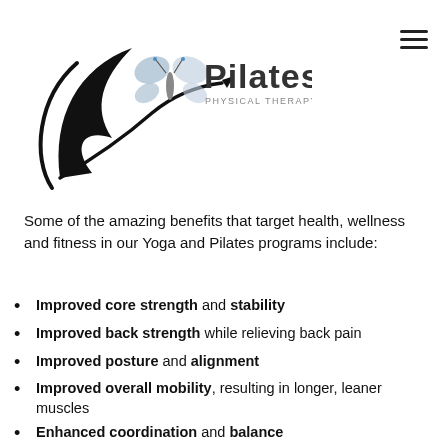[Figure (logo): DC Pilates Physical Therapy & Yoga logo with butterfly graphic and stylized swoosh]
Some of the amazing benefits that target health, wellness and fitness in our Yoga and Pilates programs include:
Improved core strength and stability
Improved back strength while relieving back pain
Improved posture and alignment
Improved overall mobility, resulting in longer, leaner muscles
Enhanced coordination and balance
Increased circulation, energy and stamina
Enhanced athletic performance